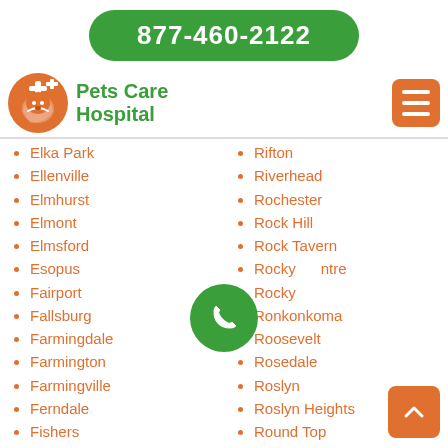877-460-2122
Pets Care Hospital
Elka Park
Ellenville
Elmhurst
Elmont
Elmsford
Esopus
Fairport
Fallsburg
Farmingdale
Farmington
Farmingville
Ferndale
Fishers
Rifton
Riverhead
Rochester
Rock Hill
Rock Tavern
Rocky Centre
Rocky
Ronkonkoma
Roosevelt
Rosedale
Roslyn
Roslyn Heights
Round Top